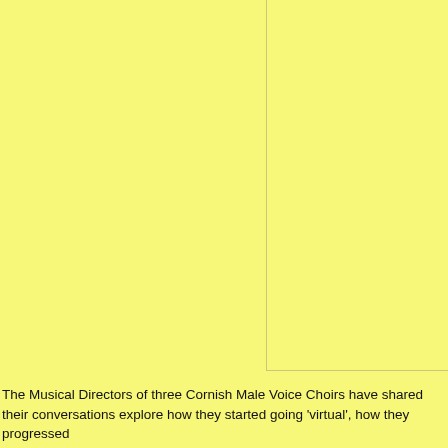[Figure (other): A large yellow background area with a vertical panel on the right side, defined by light border lines, all set against a yellow background. The image is mostly empty yellow space with a rectangular bordered region in the upper right.]
The Musical Directors of three Cornish Male Voice Choirs have shared their conversations explore how they started going 'virtual', how they progressed